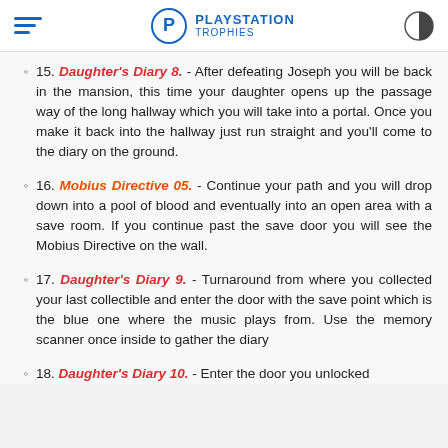PlayStation Trophies
15. Daughter's Diary 8. - After defeating Joseph you will be back in the mansion, this time your daughter opens up the passage way of the long hallway which you will take into a portal. Once you make it back into the hallway just run straight and you'll come to the diary on the ground.
16. Mobius Directive 05. - Continue your path and you will drop down into a pool of blood and eventually into an open area with a save room. If you continue past the save door you will see the Mobius Directive on the wall.
17. Daughter's Diary 9. - Turnaround from where you collected your last collectible and enter the door with the save point which is the blue one where the music plays from. Use the memory scanner once inside to gather the diary
18. Daughter's Diary 10. - Enter the door you unlocked